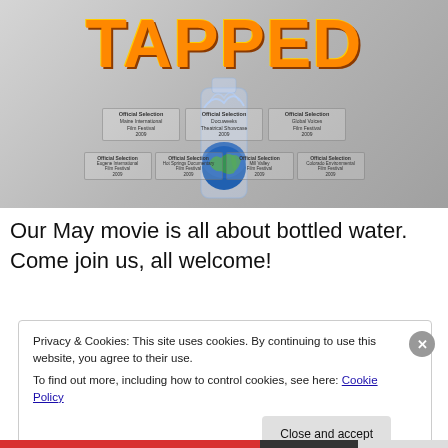[Figure (illustration): Movie poster for 'TAPPED' documentary about bottled water. Large orange gradient title 'TAPPED' at top. Center shows a water bottle containing an image of the Earth. Multiple film festival laurel awards displayed: Official Selection Maine International Film Festival 2009, Official Selection Docuweeks Theatrical Showcase 2009, Official Selection Global Voices Film Festival 2009, Official Selection Eugene International Film Festival 2009, Official Selection Hot Springs Documentary Film Festival 2009, Official Selection Mill Valley Film Festival 2009, Official Selection Colorado Environmental Film Festival 2009.]
Our May movie is all about bottled water. Come join us, all welcome!
Privacy & Cookies: This site uses cookies. By continuing to use this website, you agree to their use.
To find out more, including how to control cookies, see here: Cookie Policy
Close and accept